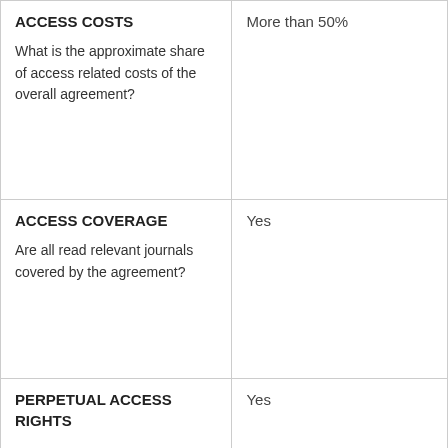| Category | Value |
| --- | --- |
| ACCESS COSTS
What is the approximate share of access related costs of the overall agreement? | More than 50% |
| ACCESS COVERAGE
Are all read relevant journals covered by the agreement? | Yes |
| PERPETUAL ACCESS RIGHTS | Yes |
| WORKFLOW ASSESSMENT | Ok |
| Request contact to the | contact [at] esac- |